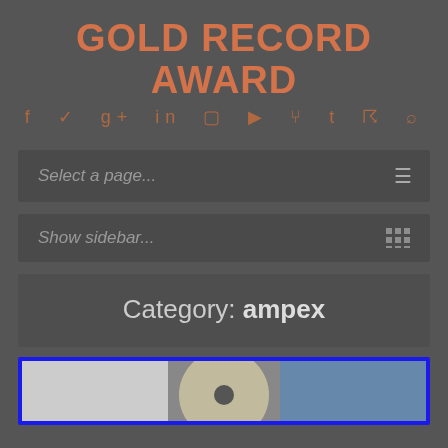GOLD RECORD AWARD
f t g+ in camera youtube p t rss search
Select a page...
Show sidebar...
Category: ampex
[Figure (photo): Partial image of what appears to be a gold record award, visible at the bottom of the page with a blue border]